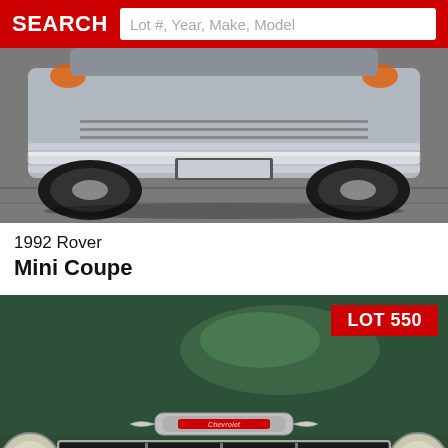SEARCH   Lot #, Year, Make, Model
[Figure (photo): Close-up rear view of a silver/grey classic Rover Mini Coupe showing rear bumper, tires, and license plate area on a concrete surface]
1992 Rover
Mini Coupe
[Figure (photo): Front grille close-up of a dark green vintage Chevrolet truck with chrome grille, Chevrolet badge, headlights visible, license plate reading 5N 55CV TRUCK. LOT 550 badge in upper right corner]